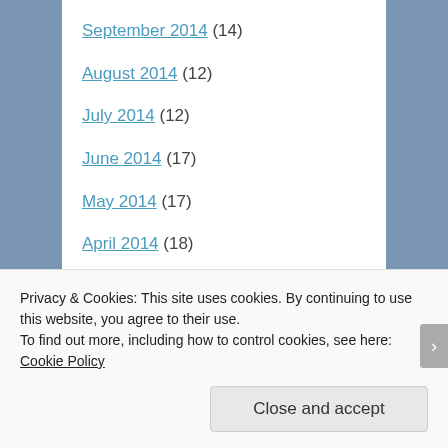September 2014 (14)
August 2014 (12)
July 2014 (12)
June 2014 (17)
May 2014 (17)
April 2014 (18)
March 2014 (25)
February 2014 (21)
January 2014 (14)
December 2013 (17)
November 2013 (16)
Privacy & Cookies: This site uses cookies. By continuing to use this website, you agree to their use. To find out more, including how to control cookies, see here: Cookie Policy
Close and accept